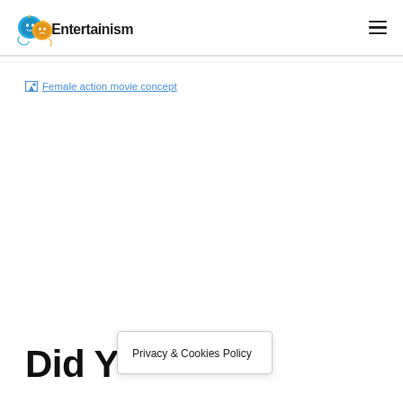[Figure (logo): Entertainism website logo with comedy/tragedy masks in blue and gold]
[Figure (photo): Broken/missing image placeholder labeled 'Female action movie concept']
Did Y
Privacy & Cookies Policy